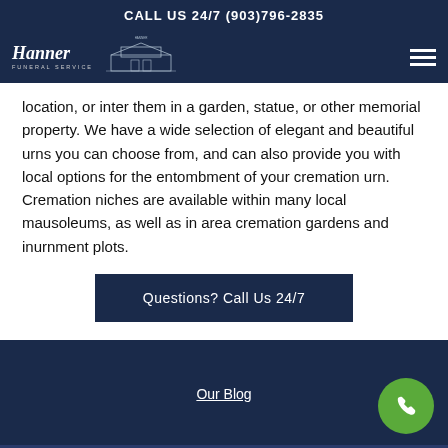CALL US 24/7 (903)796-2835
[Figure (logo): Hanner Funeral Service logo with building illustration and hamburger menu icon]
location, or inter them in a garden, statue, or other memorial property. We have a wide selection of elegant and beautiful urns you can choose from, and can also provide you with local options for the entombment of your cremation urn. Cremation niches are available within many local mausoleums, as well as in area cremation gardens and inurnment plots.
Questions? Call Us 24/7
Our Blog